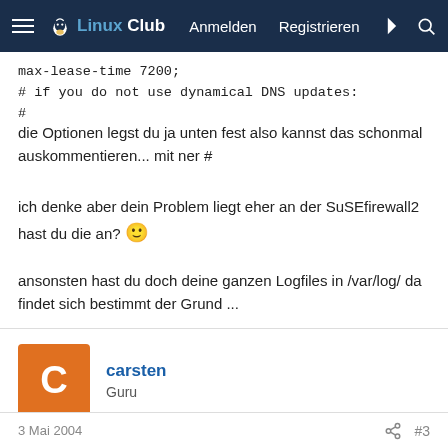Linux Club – Anmelden Registrieren
max-lease-time 7200;
# if you do not use dynamical DNS updates:
#
die Optionen legst du ja unten fest also kannst das schonmal auskommentieren... mit ner #
ich denke aber dein Problem liegt eher an der SuSEfirewall2 hast du die an? 🙂
ansonsten hast du doch deine ganzen Logfiles in /var/log/ da findet sich bestimmt der Grund ...
carsten
Guru
3 Mai 2004  #3